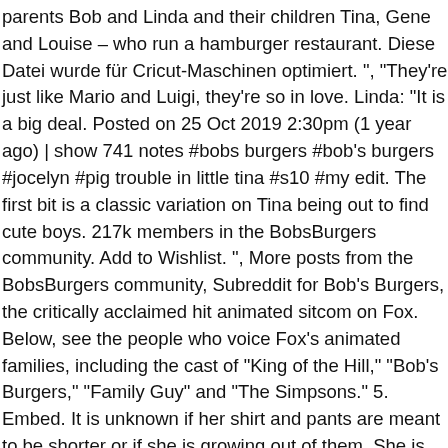parents Bob and Linda and their children Tina, Gene and Louise – who run a hamburger restaurant. Diese Datei wurde für Cricut-Maschinen optimiert. ", "They're just like Mario and Luigi, they're so in love. Linda: "It is a big deal. Posted on 25 Oct 2019 2:30pm (1 year ago) | show 741 notes #bobs burgers #bob's burgers #jocelyn #pig trouble in little tina #s10 #my edit. The first bit is a classic variation on Tina being out to find cute boys. 217k members in the BobsBurgers community. Add to Wishlist. ", More posts from the BobsBurgers community, Subreddit for Bob's Burgers, the critically acclaimed hit animated sitcom on Fox. Below, see the people who voice Fox's animated families, including the cast of "King of the Hill," "Bob's Burgers," "Family Guy" and "The Simpsons." 5. Embed. It is unknown if her shirt and pants are meant to be shorter or if she is growing out of them. She is Tammy Larsen's best friend Please don't answer if you don't know. Press question mark to learn the rest of the keyboard shortcuts. Bob's Burgers is a production by Bento Box